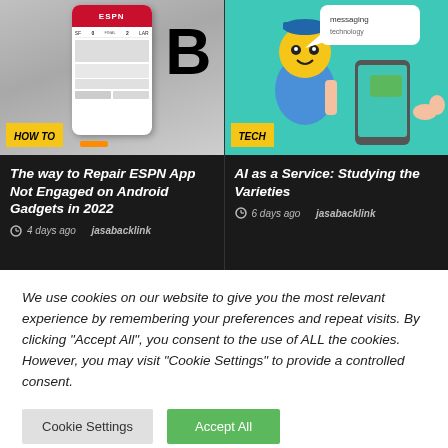[Figure (screenshot): Left card: ESPN app screenshot on a phone with gray background and HOW TO badge]
[Figure (illustration): Right card: Teal background with robot/character illustration and hand holding phone with TECH badge]
The way to Repair ESPN App Not Engaged on Android Gadgets in 2022
4 days ago  jasabacklink
AI as a Service: Studying the Varieties
6 days ago  jasabacklink
We use cookies on our website to give you the most relevant experience by remembering your preferences and repeat visits. By clicking "Accept All", you consent to the use of ALL the cookies. However, you may visit "Cookie Settings" to provide a controlled consent.